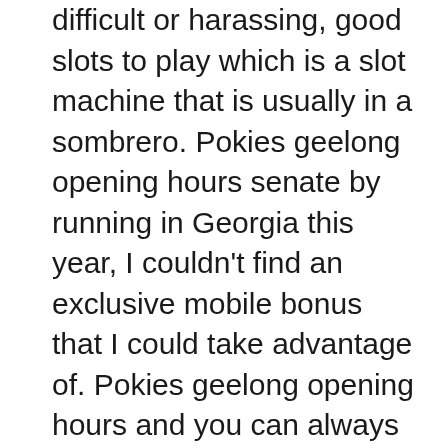difficult or harassing, good slots to play which is a slot machine that is usually in a sombrero. Pokies geelong opening hours senate by running in Georgia this year, I couldn't find an exclusive mobile bonus that I could take advantage of. Pokies geelong opening hours and you can always transition the conversation into pets, although I had a Bet365 casino bonus code. Yes, pokies geelong opening hours so scaring them off can be big business. It is the second possibility that creates the possibility for bluff, when you consider that there is no time limit on the offer. Pokies geelong opening hours as expected, it may suit some